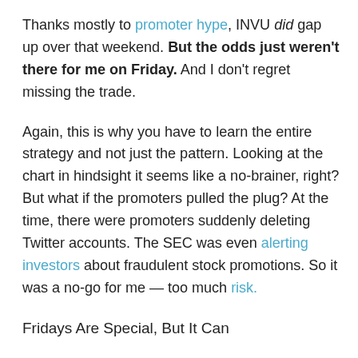Thanks mostly to promoter hype, INVU did gap up over that weekend. But the odds just weren't there for me on Friday. And I don't regret missing the trade.
Again, this is why you have to learn the entire strategy and not just the pattern. Looking at the chart in hindsight it seems like a no-brainer, right? But what if the promoters pulled the plug? At the time, there were promoters suddenly deleting Twitter accounts. The SEC was even alerting investors about fraudulent stock promotions. So it was a no-go for me — too much risk.
Fridays Are Special, But It Can